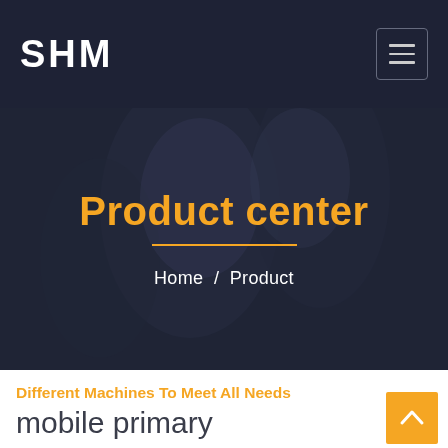SHM
Product center
Home / Product
Different Machines To Meet All Needs
mobile primary